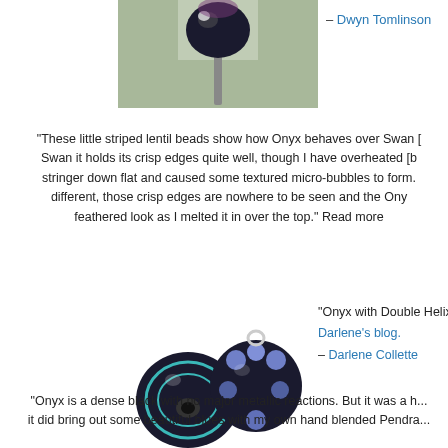[Figure (photo): Photo of a dark lampwork bead on a stick, close-up, with blurred green background]
– Dwyn Tomlinson
"These little striped lentil beads show how Onyx behaves over Swan [...] Swan it holds its crisp edges quite well, though I have overheated [b...] stringer down flat and caused some textured micro-bubbles to form. [...] different, those crisp edges are nowhere to be seen and the Ony... feathered look as I melted it in over the top." Read more
[Figure (photo): Two dark lampwork glass beads with teal/blue stripes and blue raised dots, on white background]
"Onyx with Double Helix Psyche silver glass... Darlene's blog. – Darlene Collette
"Onyx is a dense black with no major metallic reactions. But it was a h... it did bring out some beautiful blues with my own hand blended Pendra...